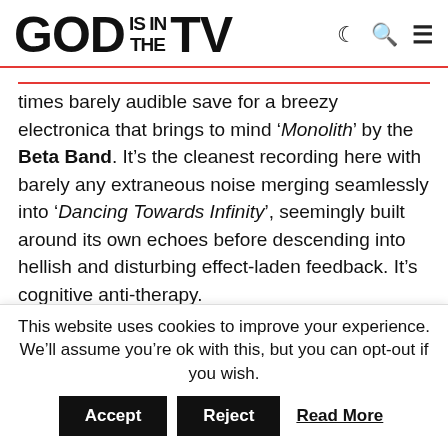GOD IS IN THE TV
times barely audible save for a breezy electronica that brings to mind '‘Monolith’ by the Beta Band. It’s the cleanest recording here with barely any extraneous noise merging seamlessly into ‘Dancing Towards Infinity’, seemingly built around its own echoes before descending into hellish and disturbing effect-laden feedback. It’s cognitive anti-therapy.
In fact, the whole of Lost Landscapes is a kind of dissonant journey. Far from the literal commute. It’s a
This website uses cookies to improve your experience. We’ll assume you’re ok with this, but you can opt-out if you wish. Accept Reject Read More